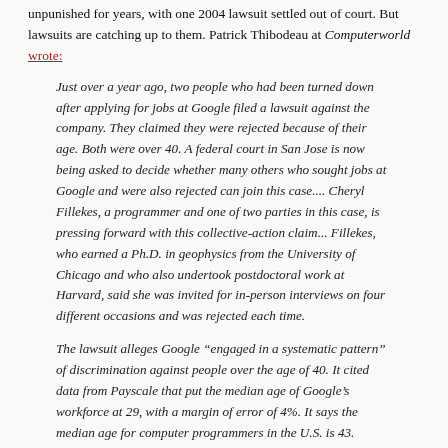unpunished for years, with one 2004 lawsuit settled out of court. But lawsuits are catching up to them. Patrick Thibodeau at Computerworld wrote:
Just over a year ago, two people who had been turned down after applying for jobs at Google filed a lawsuit against the company. They claimed they were rejected because of their age. Both were over 40. A federal court in San Jose is now being asked to decide whether many others who sought jobs at Google and were also rejected can join this case.... Cheryl Fillekes, a programmer and one of two parties in this case, is pressing forward with this collective-action claim... Fillekes, who earned a Ph.D. in geophysics from the University of Chicago and who also undertook postdoctoral work at Harvard, said she was invited for in-person interviews on four different occasions and was rejected each time.
The lawsuit alleges Google “engaged in a systematic pattern” of discrimination against people over the age of 40. It cited data from Payscale that put the median age of Google’s workforce at 29, with a margin of error of 4%. It says the median age for computer programmers in the U.S. is 43.
The other party to this case, Robert Heath, a software